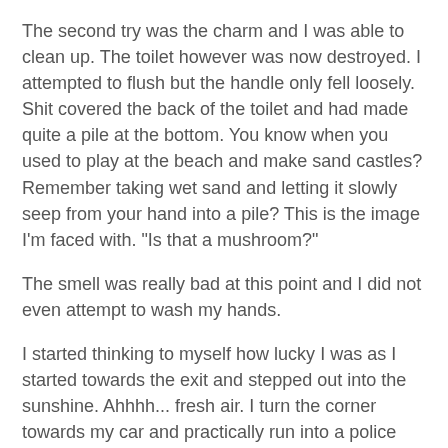The second try was the charm and I was able to clean up. The toilet however was now destroyed. I attempted to flush but the handle only fell loosely. Shit covered the back of the toilet and had made quite a pile at the bottom. You know when you used to play at the beach and make sand castles? Remember taking wet sand and letting it slowly seep from your hand into a pile? This is the image I'm faced with. "Is that a mushroom?"
The smell was really bad at this point and I did not even attempt to wash my hands.
I started thinking to myself how lucky I was as I started towards the exit and stepped out into the sunshine. Ahhhh... fresh air. I turn the corner towards my car and practically run into a police officer. Yes! A police officer. I can only imagine what he was thinking seeing me come out of bathroom looking like I did.
"What are you doing here?" the police officer asked.
"Uhhhhh, I had to use the bathroom, sir," I say.